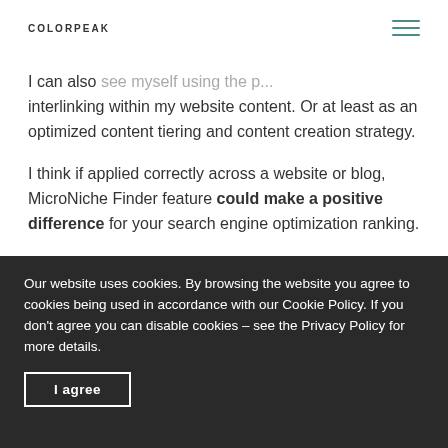COLORPEAK
I can also see myself using the p... interlinking within my website content. Or at least as an optimized content tiering and content creation strategy.
I think if applied correctly across a website or blog, MicroNiche Finder feature could make a positive difference for your search engine optimization ranking.
Our website uses cookies. By browsing the website you agree to cookies being used in accordance with our Cookie Policy. If you don't agree you can disable cookies – see the Privacy Policy for more details.
I agree